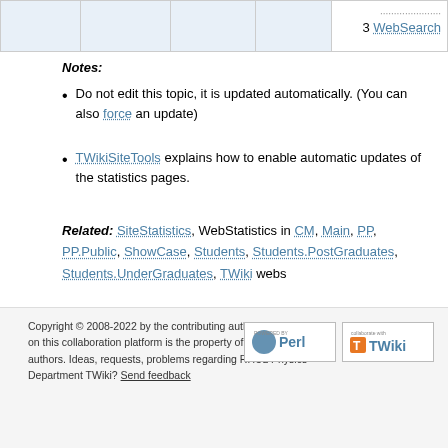|  |  |  |  | 3 WebSearch |
Notes:
Do not edit this topic, it is updated automatically. (You can also force an update)
TWikiSiteTools explains how to enable automatic updates of the statistics pages.
Related: SiteStatistics, WebStatistics in CM, Main, PP, PP.Public, ShowCase, Students, Students.PostGraduates, Students.UnderGraduates, TWiki webs
This topic: CM/Public > CM > WebHome > WebStatistics
Topic revision: r3257 - 04 Dec 2021 - TWikiAdminGroup
Copyright © 2008-2022 by the contributing authors. All material on this collaboration platform is the property of the contributing authors. Ideas, requests, problems regarding RHUL Physics Department TWiki? Send feedback